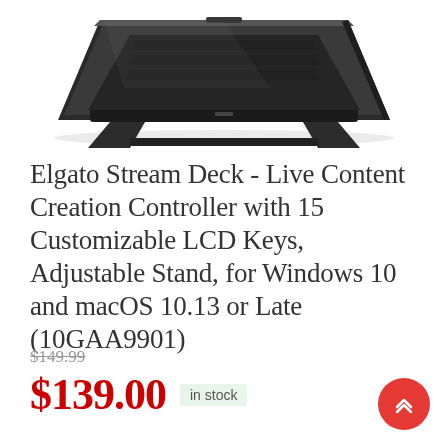[Figure (photo): Product photo of Elgato Stream Deck showing the back/underside of the device with its adjustable stand, black plastic body, viewed from an angle above.]
Elgato Stream Deck - Live Content Creation Controller with 15 Customizable LCD Keys, Adjustable Stand, for Windows 10 and macOS 10.13 or Late (10GAA9901)
$149.99
$139.00 in stock